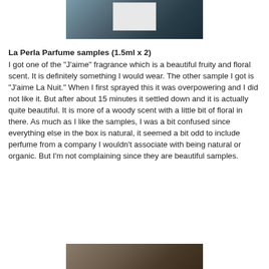[Figure (photo): Top portion of a product photo showing a white box or package against a dark background]
La Perla Parfume samples (1.5ml x 2)
I got one of the "J'aime" fragrance which is a beautiful fruity and floral scent. It is definitely something I would wear. The other sample I got is "J'aime La Nuit." When I first sprayed this it was overpowering and I did not like it. But after about 15 minutes it settled down and it is actually quite beautiful. It is more of a woody scent with a little bit of floral in there. As much as I like the samples, I was a bit confused since everything else in the box is natural, it seemed a bit odd to include perfume from a company I wouldn't associate with being natural or organic. But I'm not complaining since they are beautiful samples.
[Figure (photo): Bottom portion of another product photo, partially visible at the bottom of the page]